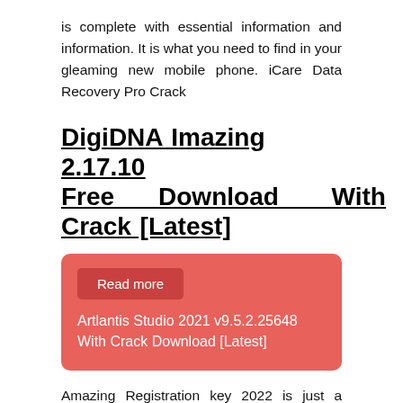is complete with essential information and information. It is what you need to find in your gleaming new mobile phone. iCare Data Recovery Pro Crack
DigiDNA Imazing 2.17.10 Free Download With Crack [Latest]
Read more
Artlantis Studio 2021 v9.5.2.25648 With Crack Download [Latest]
Amazing Registration key 2022 is just a helpful system. Provides you control over